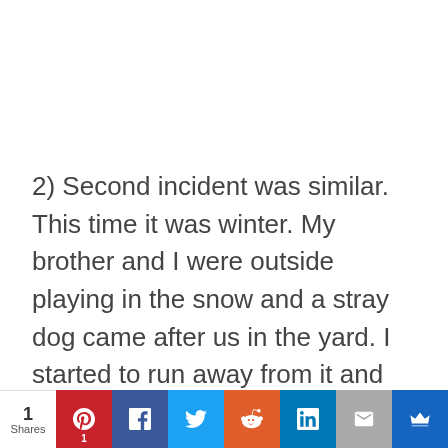2) Second incident was similar. This time it was winter. My brother and I were outside playing in the snow and a stray dog came after us in the yard. I started to run away from it and was knocked over by it. And then, so politely, this dog decided to pee right next to me, leaving a yellow mark on its “territory.”
1 Shares | Pinterest 1 | Facebook | Twitter | Reddit | LinkedIn | Email | Crown